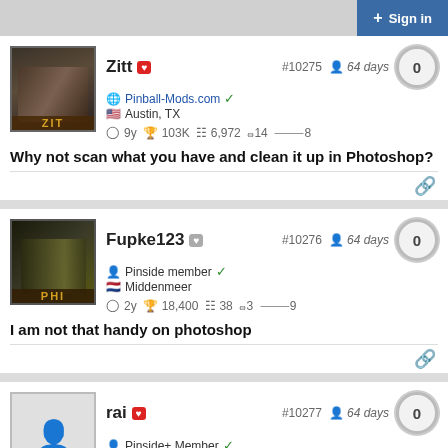Sign in
Zitt #10275 64 days 0 | Pinball-Mods.com | Austin, TX | 9y 103K 6,972 14 8 | Why not scan what you have and clean it up in Photoshop?
Fupke123 #10276 64 days 0 | Pinside member | Middenmeer | 2y 18,400 38 3 9 | I am not that handy on photoshop
rai #10277 64 days 0 | Pinside+ Member